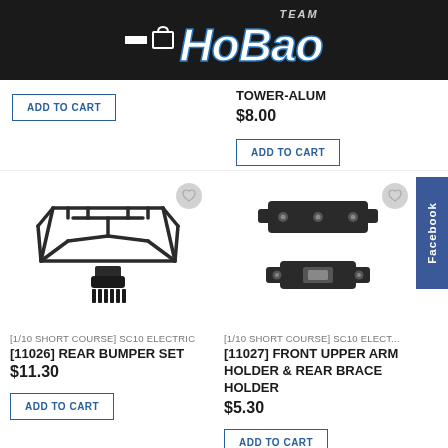[Figure (logo): Team HoBao logo on dark header with menu and cart icons]
TOWER-ALUM
$8.00
ADD TO CART
[Figure (photo): Rear bumper set for 1/10 short course SC10 Electric RC car, black plastic frame structure]
[1/10 SHORT COURSE] SC10 ELECTRIC
[11026] REAR BUMPER SET
$11.30
ADD TO CART
[Figure (photo): Front upper arm holder and rear brace holder for 1/10 short course SC10 Electric RC car, black plastic parts]
[1/10 SHORT COURSE] SC10 ELECTRIC
[11027] FRONT UPPER ARM HOLDER & REAR BRACE HOLDER
$5.30
ADD TO CART